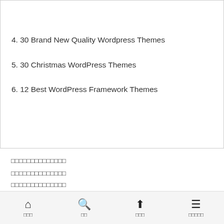4. 30 Brand New Quality Wordpress Themes
5. 30 Christmas WordPress Themes
6. 12 Best WordPress Framework Themes
□□□□□□□□□□□□□□
□□□□□□□□□□□□□□
□□□□□□□□□□□□□□
□□□□□□□□□□□□□
□□□□□□□□□□□□□
□□□□
□□□□□□□□□□□□□□□□□□□□□□□□□□□□□□□□□□□□□□□□□□□□
홈화면 검색 맨위로 목차보기